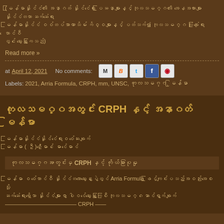(Thai script text - blog post excerpt in Thai language about international relations)
Read more »
at April 12, 2021   No comments:
Labels: 2021, Arria Formula, CRPH, mm, UNSC, ကုလသမဂ္ဂ, မြန်မာ
ကုလသမဂ္ဂ CRPH နှင့် အနာဂတ်မြန်မာ
Thai/Myanmar script subtitle line 1
Myanmar script subtitle line 2
ကုလသမဂ္ဂတွင် CRPH နှင့် ကိုယ်စားပြု
Myanmar script body text mentioning Arria Formula and CRPH